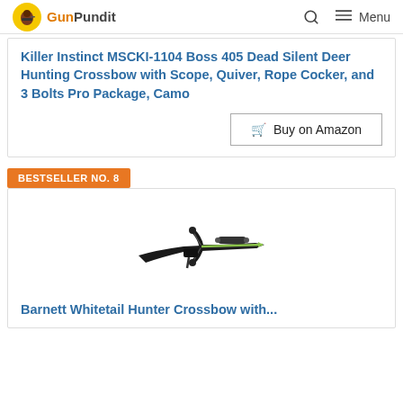GunPundit — Menu
Killer Instinct MSCKI-1104 Boss 405 Dead Silent Deer Hunting Crossbow with Scope, Quiver, Rope Cocker, and 3 Bolts Pro Package, Camo
Buy on Amazon
BESTSELLER NO. 8
[Figure (photo): Photo of a black crossbow (Barnett Whitetail Hunter) with scope and arrows, shown at an angle against white background]
Barnett Whitetail Hunter Crossbow with...